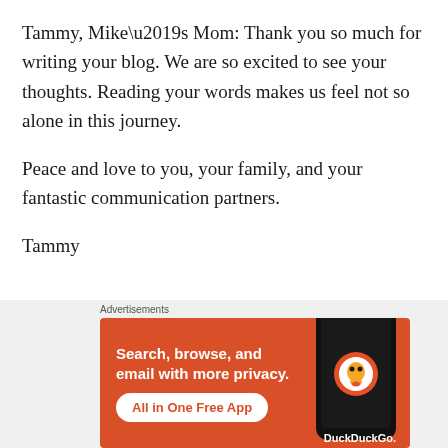Tammy, Mike’s Mom: Thank you so much for writing your blog. We are so excited to see your thoughts. Reading your words makes us feel not so alone in this journey.
Peace and love to you, your family, and your fantastic communication partners.
Tammy
[Figure (other): DuckDuckGo advertisement banner with orange background showing a smartphone, text: Search, browse, and email with more privacy. All in One Free App. DuckDuckGo.]